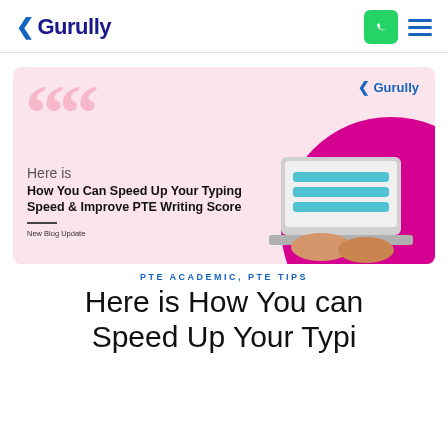Gurully
[Figure (illustration): Gurully blog post banner with pink background, large decorative quotation marks, Gurully logo top right, text 'Here is How You Can Speed Up Your Typing Speed & Improve PTE Writing Score', 'New Blog Update' label, and a laptop with hands typing on a magenta circular background on the right.]
PTE ACADEMIC, PTE TIPS
Here is How You can Speed Up Your Typi...